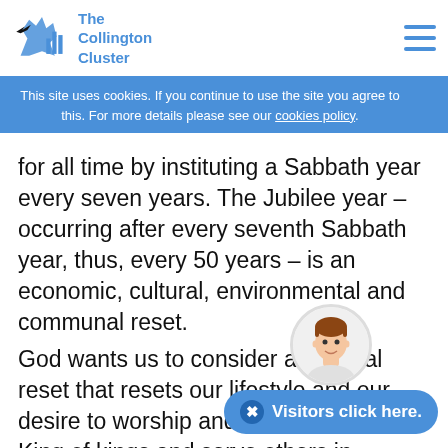The Collington Cluster
This site uses cookies. If you continue to use the site you agree to this. For more details please see our cookies policy.
for all time by instituting a Sabbath year every seven years. The Jubilee year – occurring after every seventh Sabbath year, thus, every 50 years – is an economic, cultural, environmental and communal reset.
God wants us to consider a spiritual reset that resets our lifestyle and our desire to worship and celebrate him as King of kings and serve others in sharing his love, his rule, and his message of hope that sets people free.
Blessings,
Joe (Rector)
[Figure (illustration): Circular avatar showing a cartoon illustration of a man with brown hair, and a blue button labeled 'Visitors click here.']